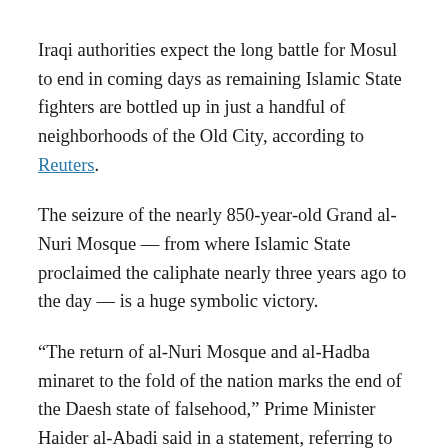Iraqi authorities expect the long battle for Mosul to end in coming days as remaining Islamic State fighters are bottled up in just a handful of neighborhoods of the Old City, according to Reuters.
The seizure of the nearly 850-year-old Grand al-Nuri Mosque — from where Islamic State proclaimed the caliphate nearly three years ago to the day — is a huge symbolic victory.
“The return of al-Nuri Mosque and al-Hadba minaret to the fold of the nation marks the end of the Daesh state of falsehood,” Prime Minister Haider al-Abadi said in a statement, referring to the hardline Sunni Mulsim group by an Arabic acronym.
The fall of Mosul and his efforts and the end of the Israid of...